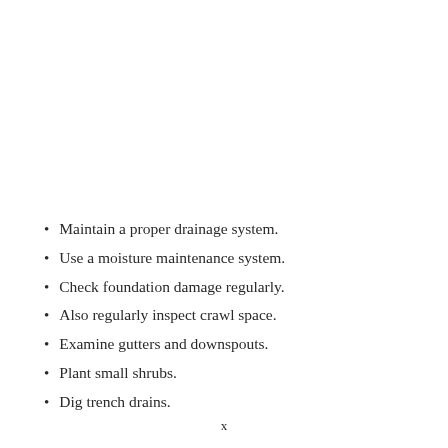Maintain a proper drainage system.
Use a moisture maintenance system.
Check foundation damage regularly.
Also regularly inspect crawl space.
Examine gutters and downspouts.
Plant small shrubs.
Dig trench drains.
x